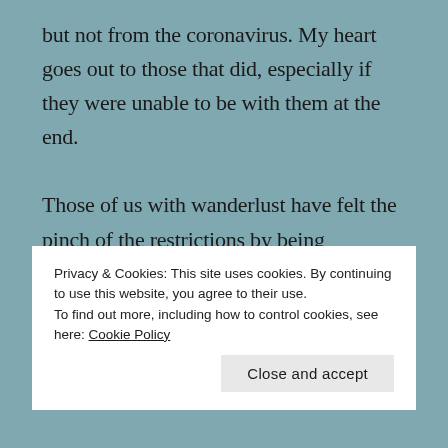but not from the coronavirus. My heart goes out to those that did, especially if they were unable to be with them at the end.

Those of us with wanderlust have felt the pinch of the restrictions by being grounded from international travel. When my husband, Dan, and I got our vaccinations and things started opening up, we felt ready to travel again. Since we haven't been able to travel to other countries yet,
Privacy & Cookies: This site uses cookies. By continuing to use this website, you agree to their use.
To find out more, including how to control cookies, see here: Cookie Policy

Close and accept